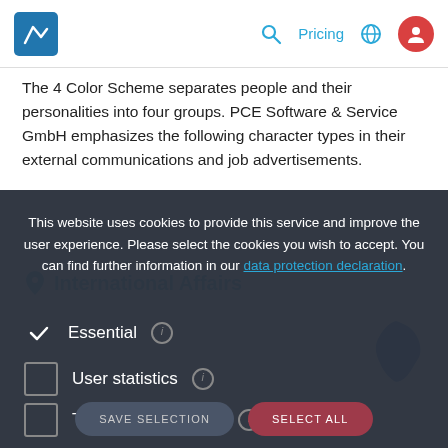The 4 Color Scheme separates people and their personalities into four groups. PCE Software & Service GmbH emphasizes the following character types in their external communications and job advertisements.
This website uses cookies to provide this service and improve the user experience. Please select the cookies you wish to accept. You can find further information in our data protection declaration.
Essential
User statistics
Third Party Tracking
SAVE SELECTION
SELECT ALL